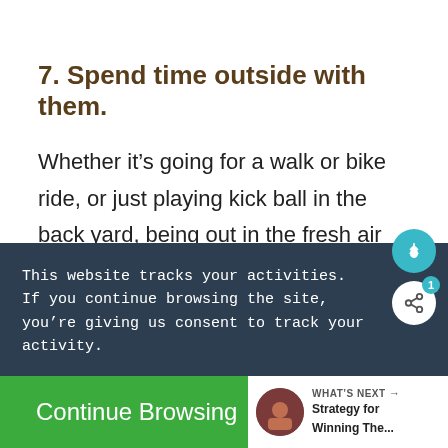7. Spend time outside with them.
Whether it’s going for a walk or bike ride, or just playing kick ball in the back yard, being out in the fresh air helps to clear your mind. It
This website tracks your activities. If you continue browsing the site, you’re giving us consent to track your activity.
Continue Browsing
WHAT’S NEXT → Strategy for Winning The...